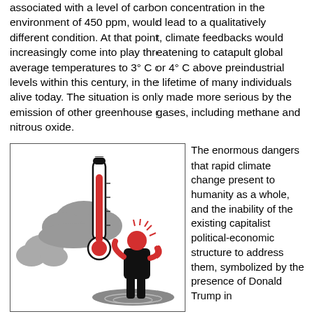associated with a level of carbon concentration in the environment of 450 ppm, would lead to a qualitatively different condition. At that point, climate feedbacks would increasingly come into play threatening to catapult global average temperatures to 3° C or 4° C above preindustrial levels within this century, in the lifetime of many individuals alive today. The situation is only made more serious by the emission of other greenhouse gases, including methane and nitrous oxide.
[Figure (illustration): Illustration of a large thermometer with red mercury rising high, surrounded by grey storm clouds, and a person in black standing in rising floodwater, holding their hand to their head in distress, with heat rays emanating around them.]
The enormous dangers that rapid climate change present to humanity as a whole, and the inability of the existing capitalist political-economic structure to address them, symbolized by the presence of Donald Trump in